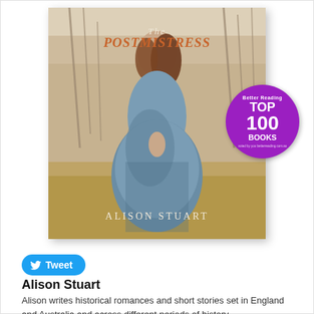[Figure (illustration): Book cover of 'The Postmistress' by Alison Stuart, showing a woman in a Victorian-era blue dress standing in a field with bare trees. A purple circular badge reads 'Better Reading TOP 100 BOOKS voted by you betterreading.com.au'.]
[Figure (logo): Tweet button: blue rounded rectangle with Twitter bird icon and the word 'Tweet']
Alison Stuart
Alison writes historical romances and short stories set in England and Australia and across different periods of history. She also writes historical mysteries as A.M. Stuart.